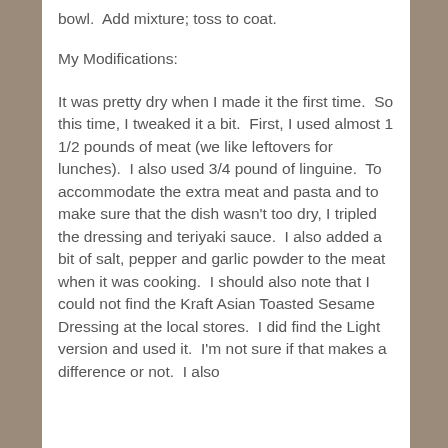bowl.  Add mixture; toss to coat.
My Modifications:
It was pretty dry when I made it the first time.  So this time, I tweaked it a bit.  First, I used almost 1 1/2 pounds of meat (we like leftovers for lunches).  I also used 3/4 pound of linguine.  To accommodate the extra meat and pasta and to make sure that the dish wasn't too dry, I tripled the dressing and teriyaki sauce.  I also added a bit of salt, pepper and garlic powder to the meat when it was cooking.  I should also note that I could not find the Kraft Asian Toasted Sesame Dressing at the local stores.  I did find the Light version and used it.  I'm not sure if that makes a difference or not.  I also